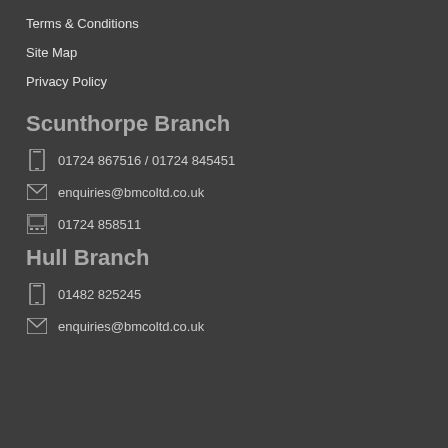Terms & Conditions
Site Map
Privacy Policy
Scunthorpe Branch
01724 867516 / 01724 845451
enquiries@bmcoltd.co.uk
01724 858511
Hull Branch
01482 825245
enquiries@bmcoltd.co.uk